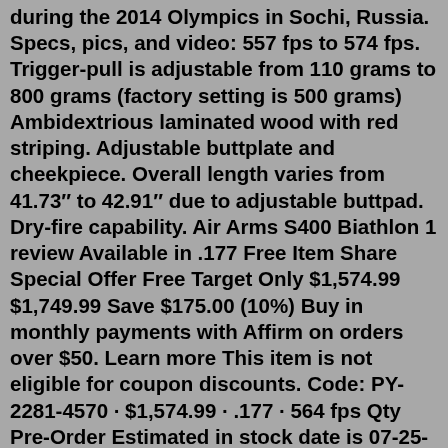during the 2014 Olympics in Sochi, Russia. Specs, pics, and video: 557 fps to 574 fps. Trigger-pull is adjustable from 110 grams to 800 grams (factory setting is 500 grams) Ambidextrious laminated wood with red striping. Adjustable buttplate and cheekpiece. Overall length varies from 41.73″ to 42.91″ due to adjustable buttpad. Dry-fire capability. Air Arms S400 Biathlon 1 review Available in .177 Free Item Share Special Offer Free Target Only $1,574.99 $1,749.99 Save $175.00 (10%) Buy in monthly payments with Affirm on orders over $50. Learn more This item is not eligible for coupon discounts. Code: PY-2281-4570 · $1,574.99 · .177 · 564 fps Qty Pre-Order Estimated in stock date is 07-25-22This is a great training rifle for use in the back yard or basement. Also a perfect rifle for young Biathletes before they graduate to a .22. Made by Air Arms in England specifically for Biathlon training and competition. Rechargeable compressed air cylinder. Straight Pull Bolt Action with 5-Shot magazine (4 magazines included) Air cylinder may ...